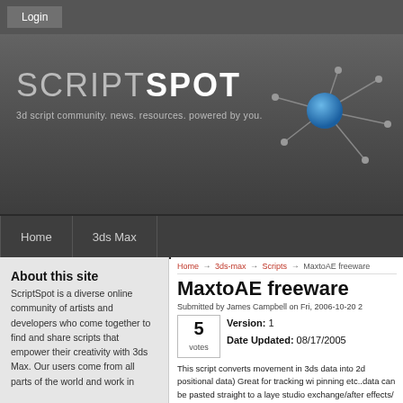Login
[Figure (logo): ScriptSpot logo with network node graphic and tagline '3d script community. news. resources. powered by you.']
Home | 3ds Max
About this site
ScriptSpot is a diverse online community of artists and developers who come together to find and share scripts that empower their creativity with 3ds Max. Our users come from all parts of the world and work in
Home → 3ds-max → Scripts → MaxtoAE freeware
MaxtoAE freeware
Submitted by James Campbell on Fri, 2006-10-20 2
5 votes
Version: 1
Date Updated: 08/17/2005
This script converts movement in 3ds data into 2d positional data) Great for tracking wi pinning etc..data can be pasted straight to a laye studio exchange/after effects/ plugins.
Came about due to constantly changing footage